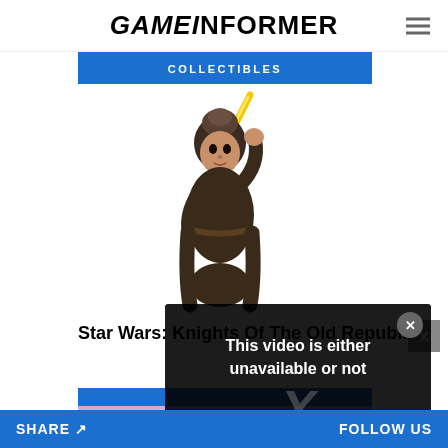GAMEiNFORMER
COLLECTIBLES
[Figure (illustration): Star Wars collectible figure of a female character in dark clothing wielding a yellow lightsaber]
Star Wars: Knights Of The Old Republic
[Figure (screenshot): Video error overlay dialog on dark background reading: This video is either unavailable or not [X watermark] OK]
[Figure (photo): Partially visible second article image showing a scenic outdoor scene with warm sky tones]
SHARE    FOLLOW US